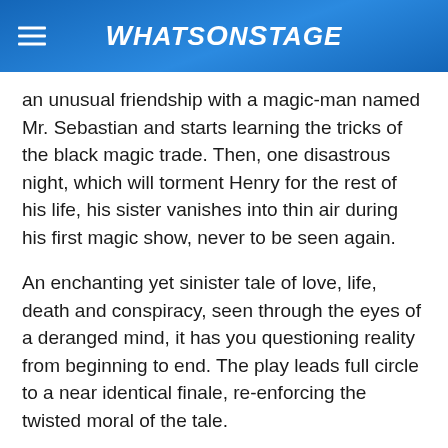WhatsOnStage
an unusual friendship with a magic-man named Mr. Sebastian and starts learning the tricks of the black magic trade. Then, one disastrous night, which will torment Henry for the rest of his life, his sister vanishes into thin air during his first magic show, never to be seen again.
An enchanting yet sinister tale of love, life, death and conspiracy, seen through the eyes of a deranged mind, it has you questioning reality from beginning to end. The play leads full circle to a near identical finale, re-enforcing the twisted moral of the tale.
Produced by the critically acclaimed Roughhouse Theatre, the standard of acting is delightfully